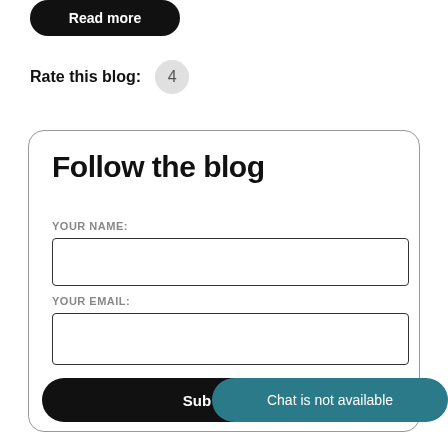[Figure (screenshot): Read more button — black rounded rectangle with white bold text 'Read more']
Rate this blog: 4
Follow the blog
YOUR NAME:
[Figure (screenshot): Empty text input field for name]
YOUR EMAIL:
[Figure (screenshot): Empty text input field for email]
[Figure (screenshot): Subscribe button — black rounded rectangle with white bold text 'Sub...']
Chat is not available